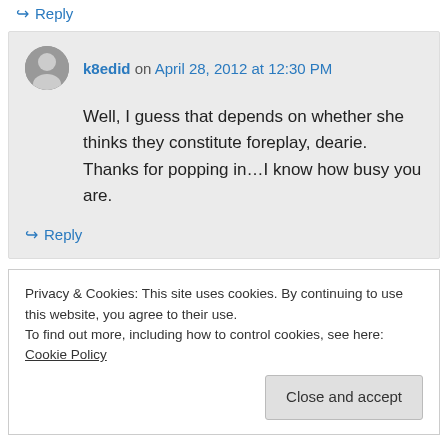↳ Reply
k8edid on April 28, 2012 at 12:30 PM
Well, I guess that depends on whether she thinks they constitute foreplay, dearie. Thanks for popping in…I know how busy you are.
↳ Reply
Privacy & Cookies: This site uses cookies. By continuing to use this website, you agree to their use.
To find out more, including how to control cookies, see here: Cookie Policy